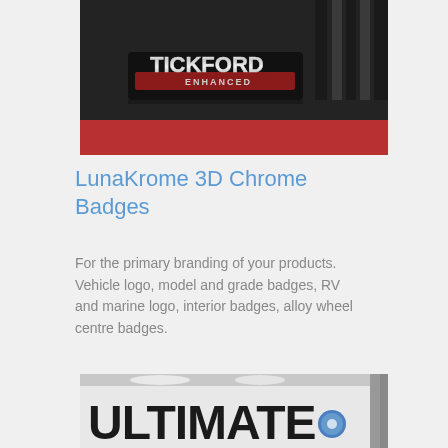[Figure (photo): Close-up photograph of a Tickford Enhanced chrome badge on a dark vehicle body panel with red accent visible at bottom]
LunaKrome 3D Chrome Badges
For the primary branding of your products. Vehicle logo, model and grade badges, RV and marine logo, interior badges, alloy wheel centre badges.
[Figure (photo): Photograph of an RV or caravan with 'Ultimate' branding in large black 3D letters on a white surface, with a blue circular logo element]